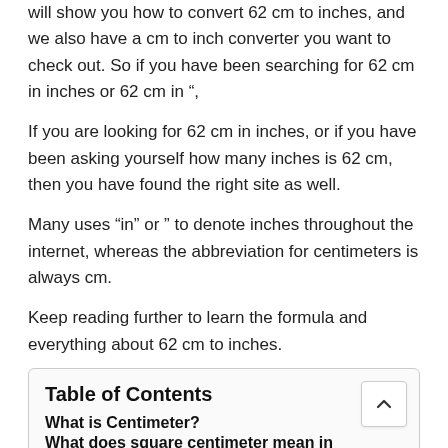will show you how to convert 62 cm to inches, and we also have a cm to inch converter you want to check out. So if you have been searching for 62 cm in inches or 62 cm in ",
If you are looking for 62 cm in inches, or if you have been asking yourself how many inches is 62 cm, then you have found the right site as well.
Many uses “in” or ” to denote inches throughout the internet, whereas the abbreviation for centimeters is always cm.
Keep reading further to learn the formula and everything about 62 cm to inches.
Table of Contents
What is Centimeter?
What does square centimeter mean in Mathematics?